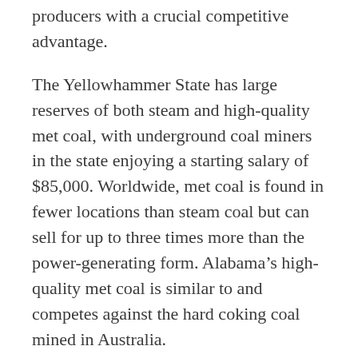producers with a crucial competitive advantage.
The Yellowhammer State has large reserves of both steam and high-quality met coal, with underground coal miners in the state enjoying a starting salary of $85,000. Worldwide, met coal is found in fewer locations than steam coal but can sell for up to three times more than the power-generating form. Alabama’s high-quality met coal is similar to and competes against the hard coking coal mined in Australia.
Last year, met coal exports accounted for 70 percent of Alabama’s total coal production, while steam coal accounted for the rest.
Met coal industry, Port of Mobile benefit from each